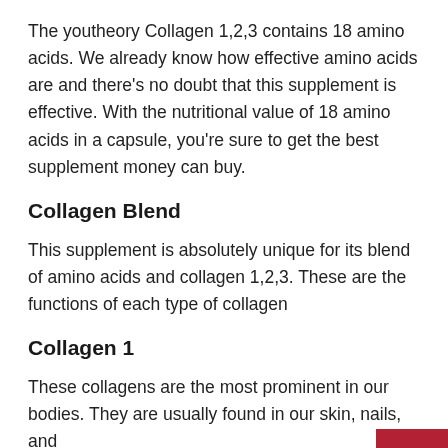The youtheory Collagen 1,2,3 contains 18 amino acids. We already know how effective amino acids are and there's no doubt that this supplement is effective. With the nutritional value of 18 amino acids in a capsule, you're sure to get the best supplement money can buy.
Collagen Blend
This supplement is absolutely unique for its blend of amino acids and collagen 1,2,3. These are the functions of each type of collagen
Collagen 1
These collagens are the most prominent in our bodies. They are usually found in our skin, nails, and bones.